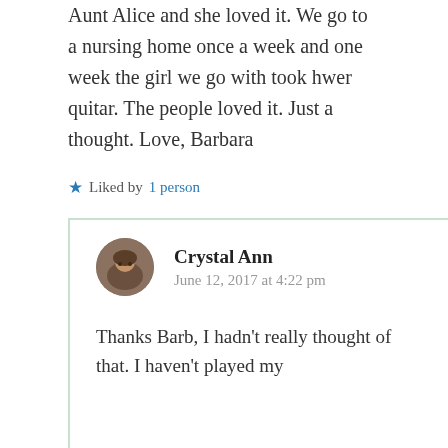Aunt Alice and she loved it. We go to a nursing home once a week and one week the girl we go with took hwer quitar. The people loved it. Just a thought. Love, Barbara
★ Liked by 1 person
↪ Reply
Crystal Ann
June 12, 2017 at 4:22 pm
Thanks Barb, I hadn't really thought of that. I haven't played my